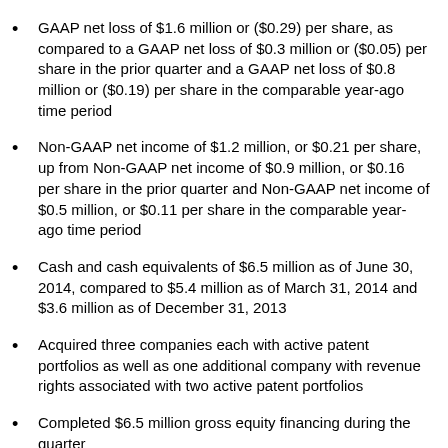GAAP net loss of $1.6 million or ($0.29) per share, as compared to a GAAP net loss of $0.3 million or ($0.05) per share in the prior quarter and a GAAP net loss of $0.8 million or ($0.19) per share in the comparable year-ago time period
Non-GAAP net income of $1.2 million, or $0.21 per share, up from Non-GAAP net income of $0.9 million, or $0.16 per share in the prior quarter and Non-GAAP net income of $0.5 million, or $0.11 per share in the comparable year-ago time period
Cash and cash equivalents of $6.5 million as of June 30, 2014, compared to $5.4 million as of March 31, 2014 and $3.6 million as of December 31, 2013
Acquired three companies each with active patent portfolios as well as one additional company with revenue rights associated with two active patent portfolios
Completed $6.5 million gross equity financing during the quarter